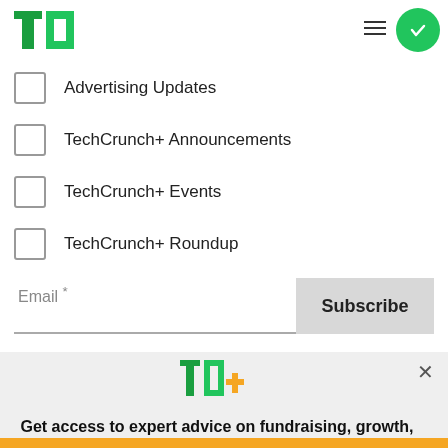TechCrunch
Advertising Updates
TechCrunch+ Announcements
TechCrunch+ Events
TechCrunch+ Roundup
Email *
Subscribe
[Figure (logo): TC+ TechCrunch Plus logo in green and yellow]
Get access to expert advice on fundraising, growth, and management for your startup.
EXPLORE NOW